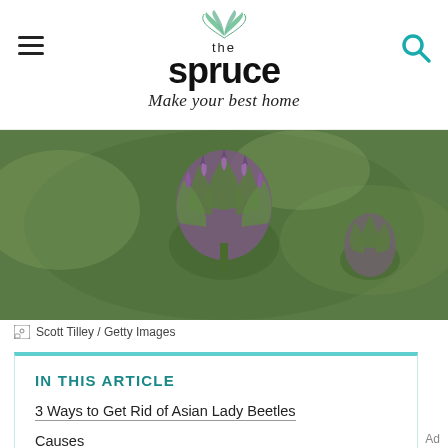the spruce — Make your best home
[Figure (photo): Close-up photograph of a purple-green thistle or artichoke flower bud with spiky bracts, against a blurred green background.]
Scott Tilley / Getty Images
IN THIS ARTICLE
3 Ways to Get Rid of Asian Lady Beetles
Causes
Prevention